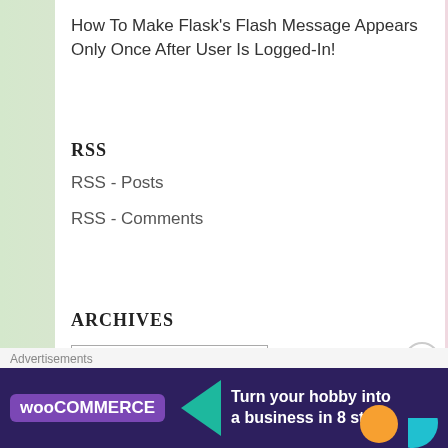How To Make Flask's Flash Message Appears Only Once After User Is Logged-In!
RSS
RSS - Posts
RSS - Comments
ARCHIVES
Select Month
BLOG STATS
Advertisements
[Figure (infographic): WooCommerce advertisement banner: purple background with teal triangle, WooCommerce logo, text 'Turn your hobby into a business in 8 steps', orange and teal decorative shapes]